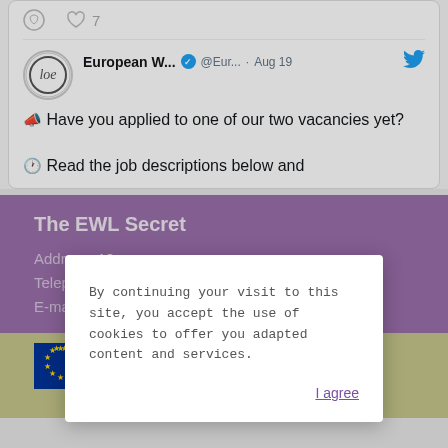[Figure (screenshot): Twitter tweet card showing European W... account with verified badge, @Eur... handle, Aug 19 date, tweet text with emoji 'Have you applied to one of our two vacancies yet?' and 'Read the job descriptions below and...' with clock emoji, reaction bar showing comment and 7 heart icons]
By continuing your visit to this site, you accept the use of cookies to offer you adapted content and services.
I agree
The EWL Secret
Address: 18 rue
Telephone: +32 2 217 90 20
E-mail: ewl@womenlobby.org
[Figure (logo): European Union flag logo — blue background with yellow stars in circle pattern]